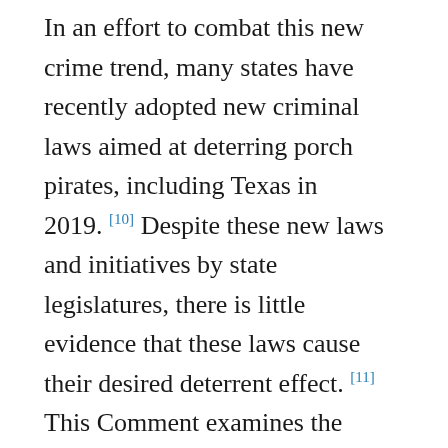In an effort to combat this new crime trend, many states have recently adopted new criminal laws aimed at deterring porch pirates, including Texas in 2019. [10] Despite these new laws and initiatives by state legislatures, there is little evidence that these laws cause their desired deterrent effect. [11] This Comment examines the source of the porch piracy problem as well as the economic, legal, and moral incentives and resources in play. [12] This Comment argues that porch piracy could be more effectively combatted if the law facilitated more private sector action rather than relying exclusively on public prosecutions. [13] The private sector has